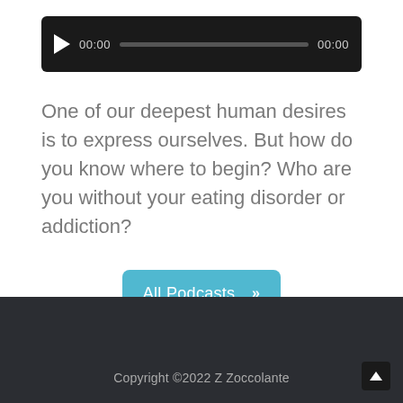[Figure (other): Audio player widget with dark background, play button, time display showing 00:00, progress bar, and end time 00:00]
One of our deepest human desires is to express ourselves. But how do you know where to begin? Who are you without your eating disorder or addiction?
[Figure (other): Teal/blue button labeled 'All Podcasts >>']
Copyright ©2022 Z Zoccolante